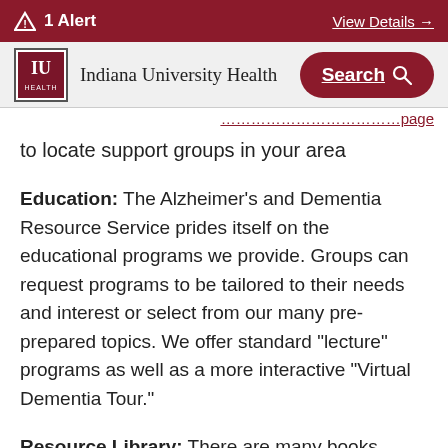1 Alert   View Details →
Indiana University Health   Search
to locate support groups in your area
Education: The Alzheimer's and Dementia Resource Service prides itself on the educational programs we provide. Groups can request programs to be tailored to their needs and interest or select from our many pre-prepared topics. We offer standard "lecture" programs as well as a more interactive "Virtual Dementia Tour."
Resource Library: There are many books, DVDs and pamphlets available in our office. Please feel free to